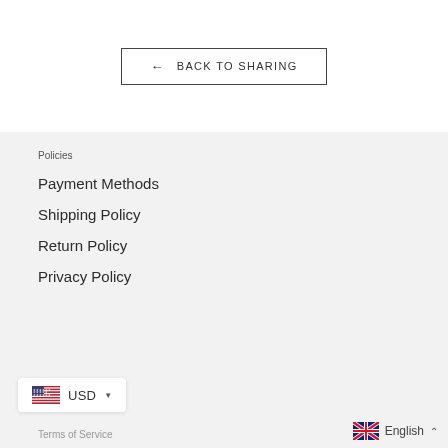← BACK TO SHARING
Policies
Payment Methods
Shipping Policy
Return Policy
Privacy Policy
Terms of Service